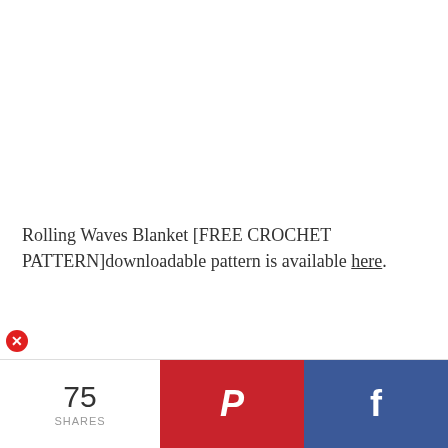[Figure (illustration): Red circle with white X error icon, small, positioned at left edge]
Rolling Waves Blanket [FREE CROCHET PATTERN]downloadable pattern is available here.
75 SHARES
[Figure (logo): Pinterest share button - red background with white P icon]
[Figure (logo): Facebook share button - blue background with white f icon]